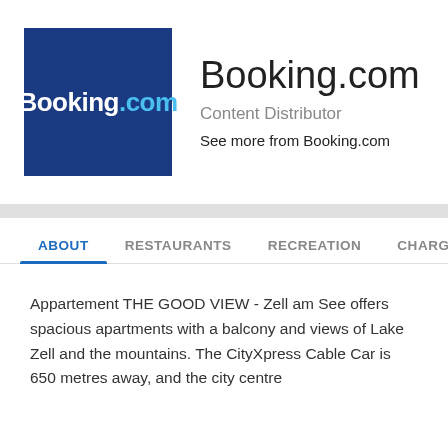[Figure (logo): Booking.com logo: blue square background with white bold text 'Booking' and light blue '.com']
Booking.com
Content Distributor
See more from Booking.com
ABOUT	RESTAURANTS	RECREATION	CHARGE
Appartement THE GOOD VIEW - Zell am See offers spacious apartments with a balcony and views of Lake Zell and the mountains. The CityXpress Cable Car is 650 metres away, and the city centre